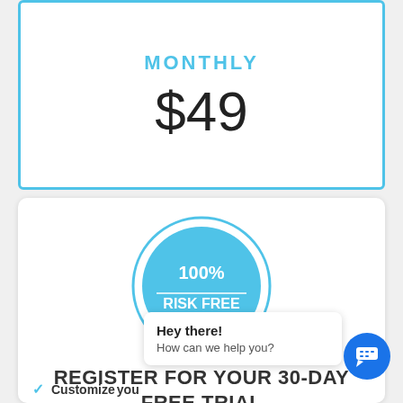MONTHLY
$49
[Figure (illustration): 100% Risk Free badge - a blue circle with inner ring containing text '100% RISK FREE' and three stars below]
REGISTER FOR YOUR 30-DAY FREE TRIAL
Hey there!
How can we help you?
Customize your...